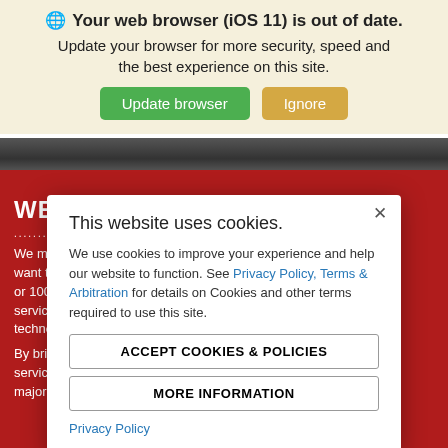[Figure (screenshot): Browser update warning banner with globe icon, bold text 'Your web browser (iOS 11) is out of date.', subtitle text, and two buttons: 'Update browser' (green) and 'Ignore' (tan)]
[Figure (screenshot): Red website background showing partial text 'WELCOME TO THE SERVICE CENTER' and body text partially hidden behind cookie modal]
[Figure (screenshot): Cookie consent modal dialog with title 'This website uses cookies.', body text about cookies and privacy policy link, two buttons 'ACCEPT COOKIES & POLICIES' and 'MORE INFORMATION', and a 'Privacy Policy' link at the bottom]